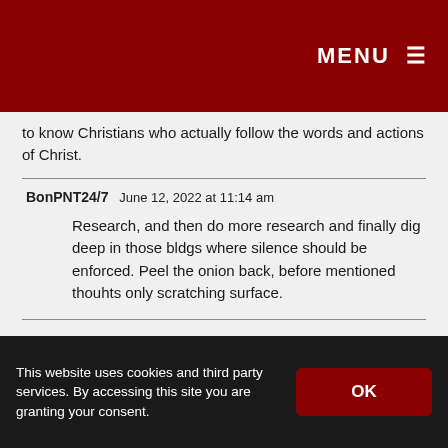MENU ≡
to know Christians who actually follow the words and actions of Christ.
BonPNT24/7   June 12, 2022 at 11:14 am
Research, and then do more research and finally dig deep in those bldgs where silence should be enforced. Peel the onion back, before mentioned thouhts only scratching surface.
This website uses cookies and third party services. By accessing this site you are granting your consent.